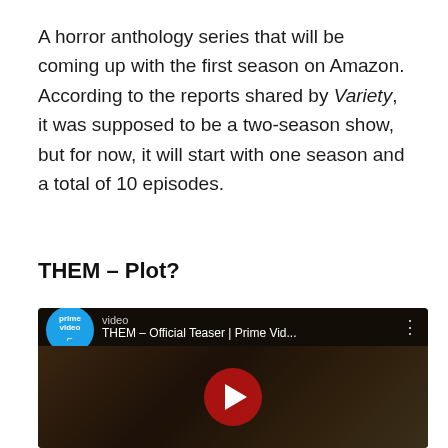A horror anthology series that will be coming up with the first season on Amazon. According to the reports shared by Variety, it was supposed to be a two-season show, but for now, it will start with one season and a total of 10 episodes.
THEM – Plot?
[Figure (screenshot): YouTube video embed showing 'THEM – Official Teaser | Prime Vid...' with Prime Video branding, dark thumbnail showing a child's face, and a red play button in the center.]